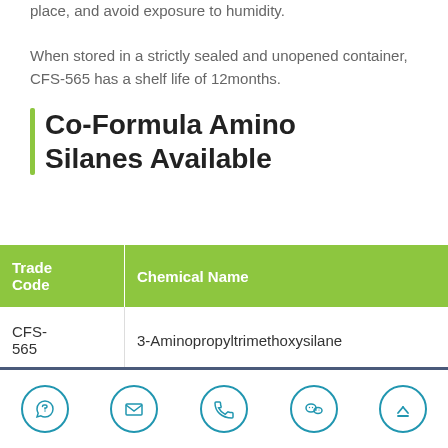place, and avoid exposure to humidity. When stored in a strictly sealed and unopened container, CFS-565 has a shelf life of 12months.
Co-Formula Amino Silanes Available
| Trade Code | Chemical Name |
| --- | --- |
| CFS-565 | 3-Aminopropyltrimethoxysilane |
Icons: Skype, Email, Phone, WeChat, Top